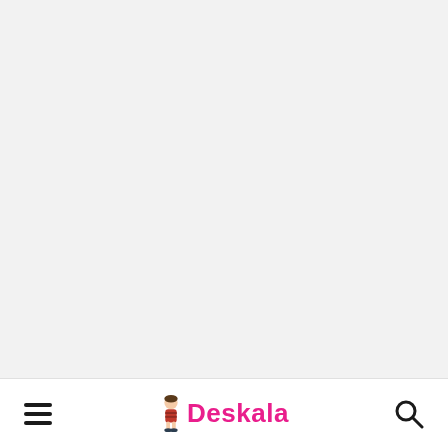[Figure (screenshot): Light gray empty content area taking up the upper portion of a mobile app or website page]
Navigation bar with hamburger menu icon on left, Deskala logo in center, and search icon on right